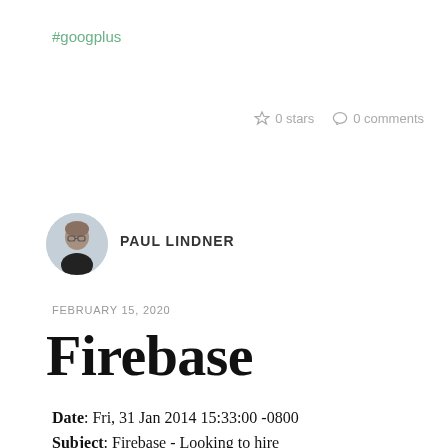#googplus
0 stars   0 comments
[Figure (photo): Circular avatar photo of Paul Lindner]
PAUL LINDNER
FEBRUARY 15, 2020
Firebase
Date: Fri, 31 Jan 2014 15:33:00 -0800
Subject: Firebase - Looking to hire Engineers (from Google+ Dan Brickley post)